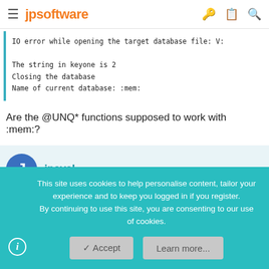jpsoftware
IO error while opening the target database file: V:
The string in keyone is 2
Closing the database
Name of current database: :mem:
Are the @UNQ* functions supposed to work with :mem:?
jpavel
This site uses cookies to help personalise content, tailor your experience and to keep you logged in if you register.
By continuing to use this site, you are consenting to our use of cookies.